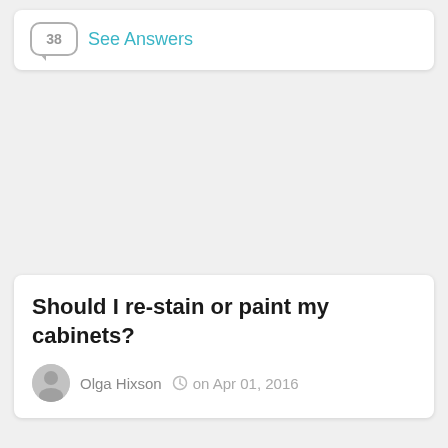38  See Answers
Should I re-stain or paint my cabinets?
Olga Hixson  on Apr 01, 2016